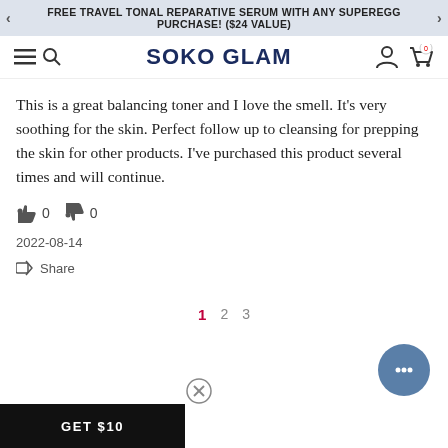FREE TRAVEL TONAL REPARATIVE SERUM WITH ANY SUPEREGG PURCHASE! ($24 VALUE)
[Figure (logo): Soko Glam logo with hamburger menu, search icon, user icon and cart icon showing 0 items]
This is a great balancing toner and I love the smell. It's very soothing for the skin. Perfect follow up to cleansing for prepping the skin for other products. I've purchased this product several times and will continue.
👍 0   👎 0
2022-08-14
Share
1 2 3
GET $10